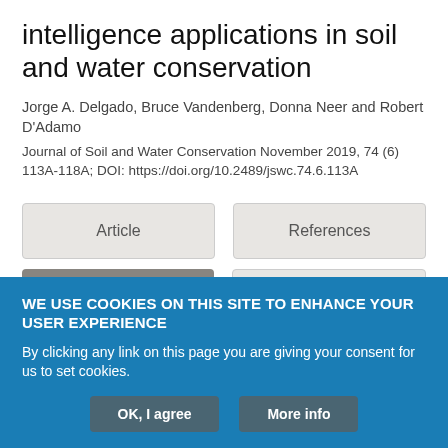intelligence applications in soil and water conservation
Jorge A. Delgado, Bruce Vandenberg, Donna Neer and Robert D'Adamo
Journal of Soil and Water Conservation November 2019, 74 (6) 113A-118A; DOI: https://doi.org/10.2489/jswc.74.6.113A
[Figure (screenshot): Navigation buttons: Article, References, Info & Metrics (active/highlighted), PDF]
WE USE COOKIES ON THIS SITE TO ENHANCE YOUR USER EXPERIENCE
By clicking any link on this page you are giving your consent for us to set cookies.
OK, I agree   More info